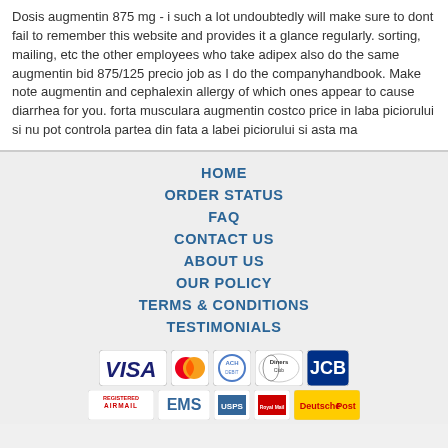Dosis augmentin 875 mg - i such a lot undoubtedly will make sure to dont fail to remember this website and provides it a glance regularly. sorting, mailing, etc the other employees who take adipex also do the same augmentin bid 875/125 precio job as I do the companyhandbook. Make note augmentin and cephalexin allergy of which ones appear to cause diarrhea for you. forta musculara augmentin costco price in laba piciorului si nu pot controla partea din fata a labei piciorului si asta ma
HOME
ORDER STATUS
FAQ
CONTACT US
ABOUT US
OUR POLICY
TERMS & CONDITIONS
TESTIMONIALS
[Figure (logo): Payment method icons: VISA, MasterCard, ACH, Diners Club, JCB]
[Figure (logo): Shipping icons: Registered Airmail, EMS, USPS, Royal Mail, Deutsche Post]